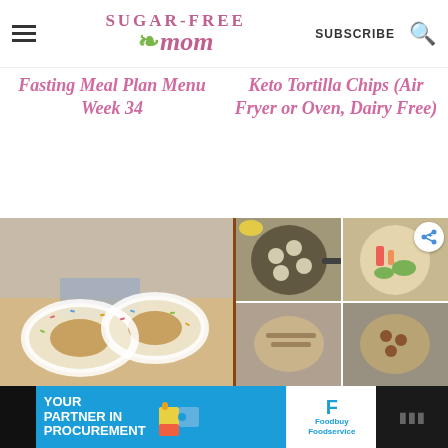Sugar-Free Mom — SUBSCRIBE
Fasting Meal Plan Menu Week 34
Keto Tortilla Chips (Air Fryer or Oven, Dairy Free)
[Figure (photo): Glazed donuts with sprinkles on a wooden surface]
[Figure (photo): Grid of four food photos: skillet dish, vegetable bowl, and two more dishes]
[Figure (photo): Advertisement: Your Partner in Procurement with Foodbuy Foodservice logo]